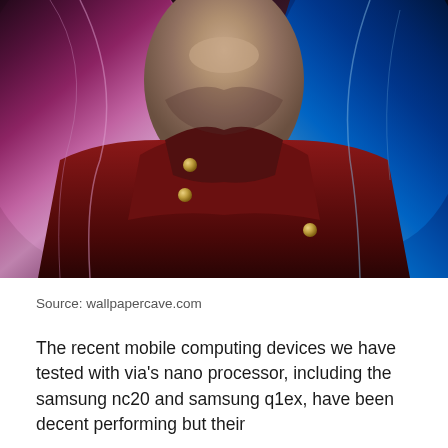[Figure (photo): Close-up photo of an illustrated/anime-style character with pink/purple hair on the left and blue hair on the right, wearing a dark red jacket with gold studs, pale skin visible at the neck and chin area.]
Source: wallpapercave.com
The recent mobile computing devices we have tested with via's nano processor, including the samsung nc20 and samsung q1ex, have been decent performing but their